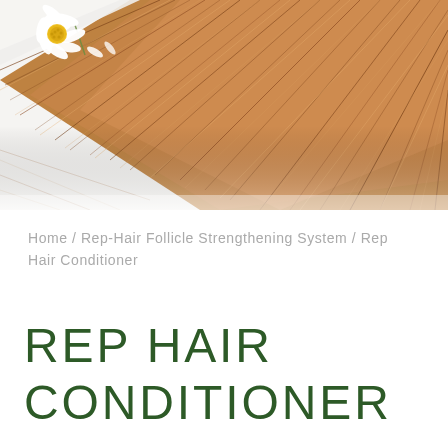[Figure (photo): Close-up photo of auburn/brown hair strands fanned out diagonally across a white surface, with a white daisy flower with yellow center placed in the upper left area of the image.]
Home / Rep-Hair Follicle Strengthening System / Rep Hair Conditioner
REP HAIR CONDITIONER